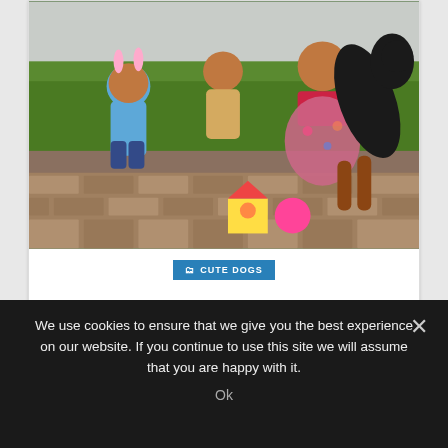[Figure (photo): Photo of two children and a woman with a large black and brown dog standing up on its hind legs, outdoors on a patterned stone patio with green shrubs in the background. Colorful toys visible on the ground.]
CUTE DOGS
funny dog video | cute dog and babies are best friends |
Cute Dogs Video Information: in this video, my big dog love his little baby girl. funny dog video , look how dog protecting baby . hope you guys like this video so plz help us...
We use cookies to ensure that we give you the best experience on our website. If you continue to use this site we will assume that you are happy with it.
Ok